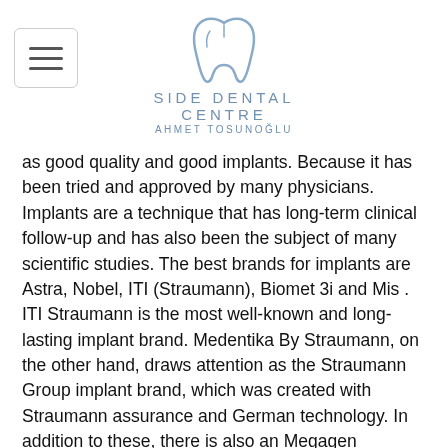SIDE DENTAL CENTRE — AHMET TOSUNOĞLU
as good quality and good implants. Because it has been tried and approved by many physicians. Implants are a technique that has long-term clinical follow-up and has also been the subject of many scientific studies. The best brands for implants are Astra, Nobel, ITI (Straumann), Biomet 3i and Mis . ITI Straumann is the most well-known and long-lasting implant brand. Medentika By Straumann, on the other hand, draws attention as the Straumann Group implant brand, which was created with Straumann assurance and German technology. In addition to these, there is also an Megagen Anyridge implant. Anyridge Implant is a South Korean brand. It stands out as an implant brand that is frequently preferred by dental clinics and hospitals.
The implant brands in the second stage are not as old as the implant brands in the first category. Despite this, this category of implants, which is quite